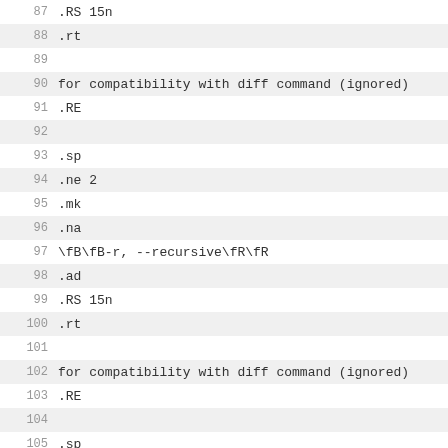87  .RS 15n
88  .rt
89
90  for compatibility with diff command (ignored)
91  .RE
92
93  .sp
94  .ne 2
95  .mk
96  .na
97  \fB\fB-r, --recursive\fR\fR
98  .ad
99  .RS 15n
100 .rt
101
102 for compatibility with diff command (ignored)
103 .RE
104
105 .sp
106 .ne 2
107 .mk
108 .na